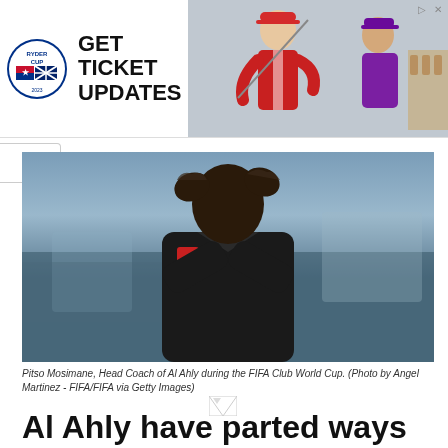[Figure (photo): Ryder Cup advertisement banner with logo, GET TICKET UPDATES text, and golfers in background]
[Figure (photo): Pitso Mosimane, Head Coach of Al Ahly, wearing black jacket, clapping hands, during the FIFA Club World Cup]
Pitso Mosimane, Head Coach of Al Ahly during the FIFA Club World Cup. (Photo by Angel Martinez - FIFA/FIFA via Getty Images)
Al Ahly have parted ways with Pitso Mosimane after two years